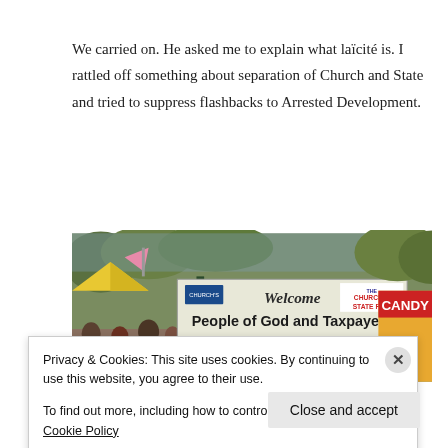We carried on.  He asked me to explain what laïcité is.  I rattled off something about separation of Church and State and tried to suppress flashbacks to Arrested Development.
[Figure (photo): A fair scene with a large banner sign reading 'Welcome People of God and Taxpayers' with 'THE CHURCH & STATE FAIR' text. Colorful tents and stalls visible including a CANDY stand. Trees in background.]
Privacy & Cookies: This site uses cookies. By continuing to use this website, you agree to their use.
To find out more, including how to control cookies, see here: Cookie Policy